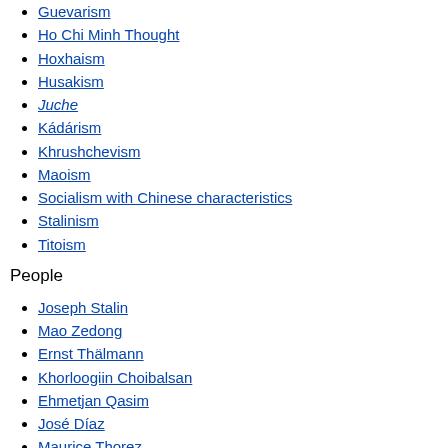Guevarism
Ho Chi Minh Thought
Hoxhaism
Husakism
Juche
Kádárism
Khrushchevism
Maoism
Socialism with Chinese characteristics
Stalinism
Titoism
People
Joseph Stalin
Mao Zedong
Ernst Thälmann
Khorloogiin Choibalsan
Ehmetjan Qasim
José Díaz
Maurice Thorez
Palmiro Togliatti
Ho Chi Minh
Võ Nguyên Giáp
Earl Browder
Nikita Khrushchev